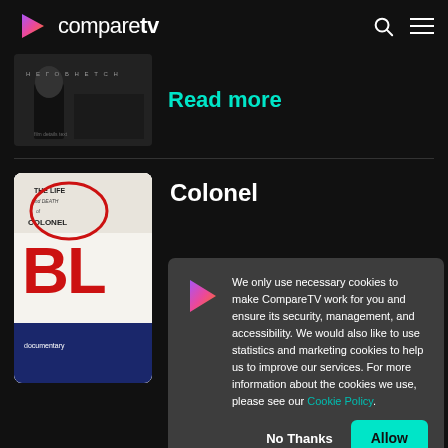compareTV
[Figure (screenshot): Dark movie poster thumbnail with Cyrillic text]
Read more
[Figure (illustration): Book cover: The Life and Death of Colonel Bl...]
Colonel
We only use necessary cookies to make CompareTV work for you and ensure its security, management, and accessibility. We would also like to use statistics and marketing cookies to help us to improve our services. For more information about the cookies we use, please see our Cookie Policy.
No Thanks
Allow